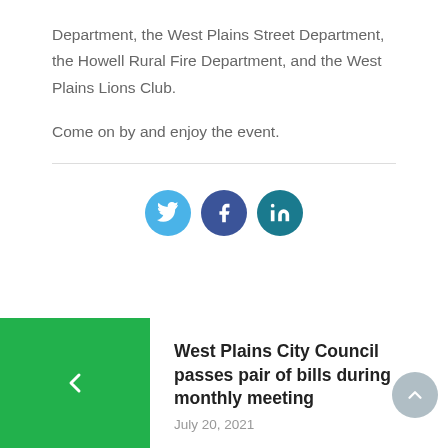Department, the West Plains Street Department, the Howell Rural Fire Department, and the West Plains Lions Club.
Come on by and enjoy the event.
[Figure (infographic): Social media share buttons: Twitter (blue), Facebook (dark blue), LinkedIn (teal)]
[Figure (illustration): Green square with white left arrow, navigation button for previous article]
West Plains City Council passes pair of bills during monthly meeting
July 20, 2021